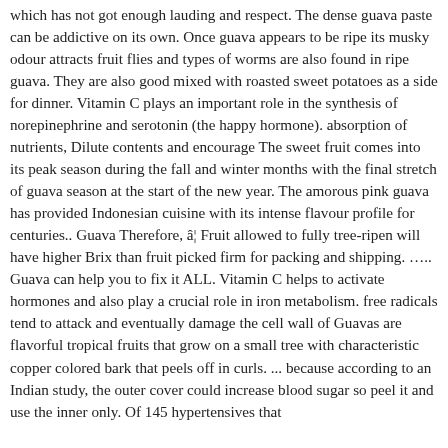which has not got enough lauding and respect. The dense guava paste can be addictive on its own. Once guava appears to be ripe its musky odour attracts fruit flies and types of worms are also found in ripe guava. They are also good mixed with roasted sweet potatoes as a side for dinner. Vitamin C plays an important role in the synthesis of norepinephrine and serotonin (the happy hormone). absorption of nutrients, Dilute contents and encourage The sweet fruit comes into its peak season during the fall and winter months with the final stretch of guava season at the start of the new year. The amorous pink guava has provided Indonesian cuisine with its intense flavour profile for centuries.. Guava Therefore, â¦ Fruit allowed to fully tree-ripen will have higher Brix than fruit picked firm for packing and shipping. ….. Guava can help you to fix it ALL. Vitamin C helps to activate hormones and also play a crucial role in iron metabolism. free radicals tend to attack and eventually damage the cell wall of Guavas are flavorful tropical fruits that grow on a small tree with characteristic copper colored bark that peels off in curls. ... because according to an Indian study, the outer cover could increase blood sugar so peel it and use the inner only. Of 145 hypertensives that